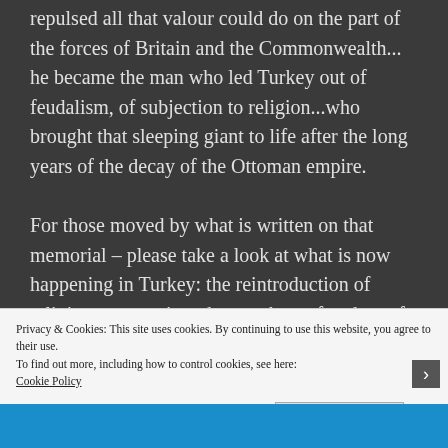repulsed all that valour could do on the part of the forces of Britain and the Commonwealth... he became the man who led Turkey out of feudalism, of subjection to religion...who brought that sleeping giant to life after the long years of the decay of the Ottoman empire.

For those moved by what is written on that memorial – please take a look at what is now happening in Turkey: the reintroduction of religious oppression, the attacks on freedom of
Privacy & Cookies: This site uses cookies. By continuing to use this website, you agree to their use.
To find out more, including how to control cookies, see here: Cookie Policy
Close and accept